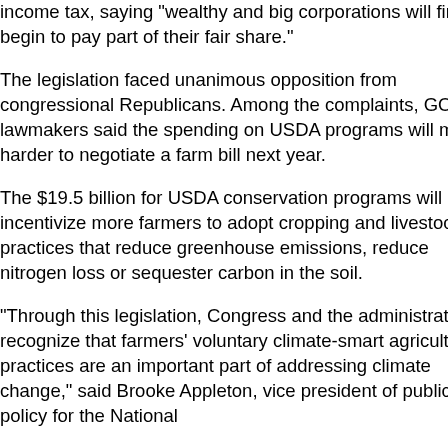income tax, saying "wealthy and big corporations will finally begin to pay part of their fair share."
The legislation faced unanimous opposition from congressional Republicans. Among the complaints, GOP lawmakers said the spending on USDA programs will make it harder to negotiate a farm bill next year.
The $19.5 billion for USDA conservation programs will incentivize more farmers to adopt cropping and livestock practices that reduce greenhouse emissions, reduce nitrogen loss or sequester carbon in the soil.
"Through this legislation, Congress and the administration recognize that farmers' voluntary climate-smart agricultural practices are an important part of addressing climate change," said Brooke Appleton, vice president of public policy for the National
US Feed G
Wednesday
USDA Con
Monday, Au
USDA Con
Monday, Au
Vilsack: IRA Conservation
Friday, Augu
USDA Spo
Monday, Au
Ag. Biofuel
Saturday, A
Higher Inte Rents to Sl
Tuesday, Ju
Higher Inte Rents to Sl
Tuesday, Ju
Digital Yiel
Tuesday, Ju